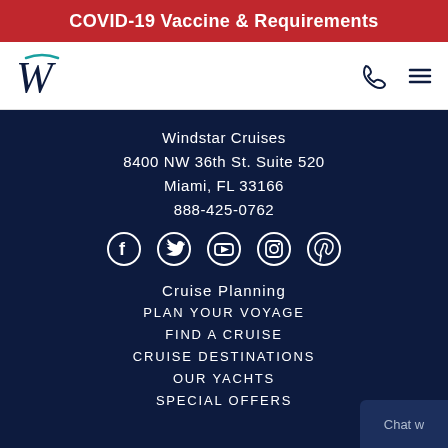COVID-19 Vaccine & Requirements
[Figure (logo): Windstar Cruises W logo in dark navy with teal accent]
Windstar Cruises
8400 NW 36th St. Suite 520
Miami, FL 33166
888-425-0762
[Figure (infographic): Social media icons: Facebook, Twitter, YouTube, Instagram, Pinterest]
Cruise Planning
PLAN YOUR VOYAGE
FIND A CRUISE
CRUISE DESTINATIONS
OUR YACHTS
SPECIAL OFFERS